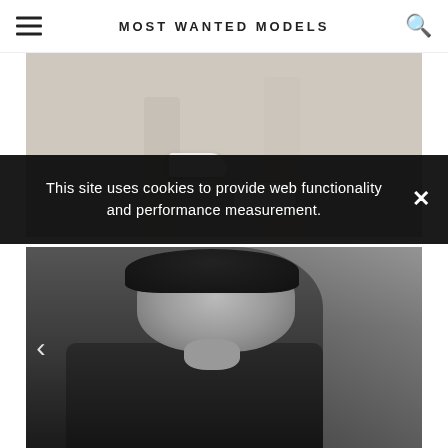MOST WANTED MODELS
[Figure (photo): Top portion of a fashion photo showing legs/lower body with white sneakers against a beige background]
This site uses cookies to provide web functionality and performance measurement.
[Figure (photo): Black and white portrait of a young male model with dark wavy hair, wearing a dark ribbed turtleneck sweater, hand raised to chin, outdoor background with trees]